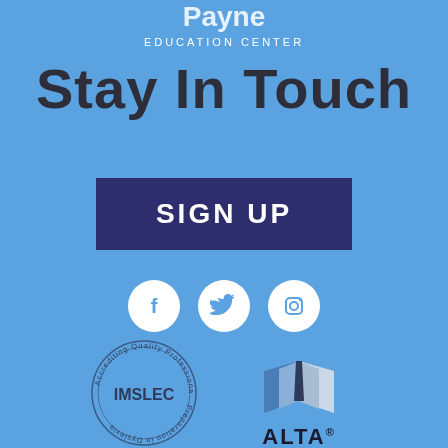[Figure (logo): Education Center logo at top center, white text on blue background]
Stay In Touch
[Figure (other): SIGN UP button in dark navy blue rectangle]
[Figure (other): Three white circular social media icons: Facebook, Twitter, Instagram]
[Figure (logo): IMSLEC accreditation stamp - circular seal reading Accrediting Quality Professional Preparation in Dyslexia with IMSLEC in center]
[Figure (logo): ALTA logo - open book graphic in blue and grey with ALTA text below]